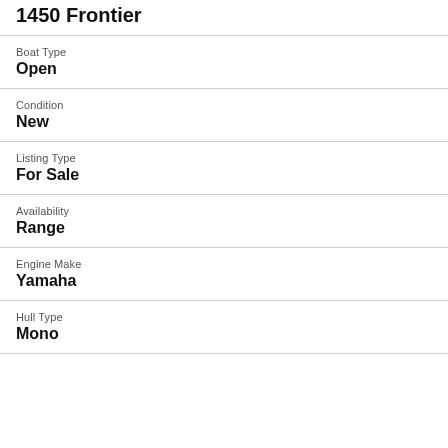1450 Frontier
Boat Type
Open
Condition
New
Listing Type
For Sale
Availability
Range
Engine Make
Yamaha
Hull Type
Mono